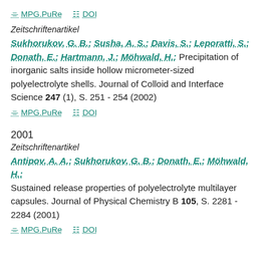MPG.PuRe   DOI
Zeitschriftenartikel
Sukhorukov, G. B.; Susha, A. S.; Davis, S.; Leporatti, S.; Donath, E.; Hartmann, J.; Möhwald, H.: Precipitation of inorganic salts inside hollow micrometer-sized polyelectrolyte shells. Journal of Colloid and Interface Science 247 (1), S. 251 - 254 (2002)
MPG.PuRe   DOI
2001
Zeitschriftenartikel
Antipov, A. A.; Sukhorukov, G. B.; Donath, E.; Möhwald, H.: Sustained release properties of polyelectrolyte multilayer capsules. Journal of Physical Chemistry B 105, S. 2281 - 2284 (2001)
MPG.PuRe   DOI